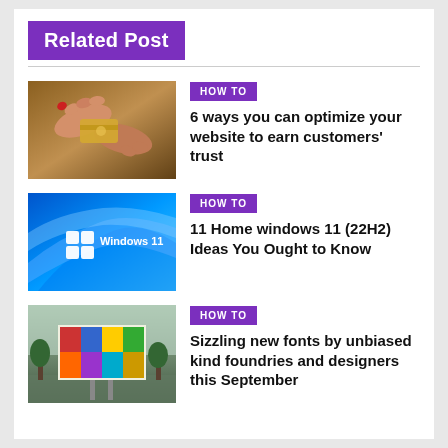Related Post
[Figure (photo): Two hands exchanging a gold credit card]
HOW TO
6 ways you can optimize your website to earn customers' trust
[Figure (photo): Windows 11 logo on blue abstract background]
HOW TO
11 Home windows 11 (22H2) Ideas You Ought to Know
[Figure (photo): Colorful billboard advertisement in a park setting]
HOW TO
Sizzling new fonts by unbiased kind foundries and designers this September